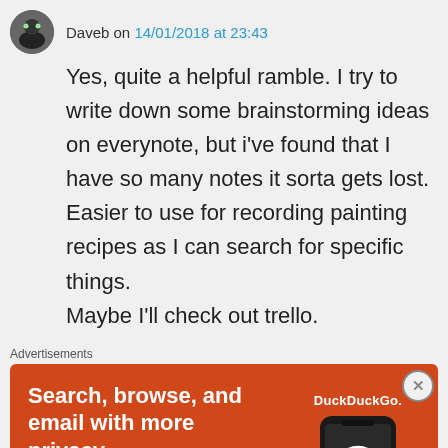Daveb on 14/01/2018 at 23:43
Yes, quite a helpful ramble. I try to write down some brainstorming ideas on everynote, but i've found that I have so many notes it sorta gets lost. Easier to use for recording painting recipes as I can search for specific things.
Maybe I'll check out trello.
Advertisements
[Figure (screenshot): DuckDuckGo advertisement banner with orange background. Text reads 'Search, browse, and email with more privacy. All in One Free App'. Shows a phone with the DuckDuckGo logo and wordmark.]